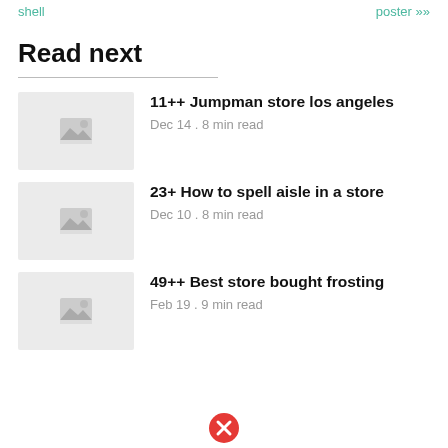shell   poster >>>
Read next
11++ Jumpman store los angeles
Dec 14 . 8 min read
23+ How to spell aisle in a store
Dec 10 . 8 min read
49++ Best store bought frosting
Feb 19 . 9 min read